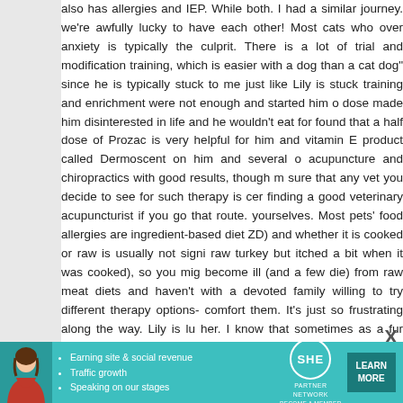also has allergies and IEP. While both. I had a similar journey. we're awfully lucky to have each other! Most cats who over anxiety is typically the culprit. There is a lot of trial and modification training, which is easier with a dog than a cat dog" since he is typically stuck to me just like Lily is stuck training and enrichment were not enough and started him o dose made him disinterested in life and he wouldn't eat for found that a half dose of Prozac is very helpful for him and vitamin E product called Dermoscent on him and several o acupuncture and chiropractics with good results, though m sure that any vet you decide to see for such therapy is cer finding a good veterinary acupuncturist if you go that route. yourselves. Most pets' food allergies are ingredient-based diet ZD) and whether it is cooked or raw is usually not signi raw turkey but itched a bit when it was cooked), so you mig become ill (and a few die) from raw meat diets and haven't with a devoted family willing to try different therapy options- comfort them. It's just so frustrating along the way. Lily is lu her. I know that sometimes as a fur mom you can feel ver another home for my dog since I seemed to be unable to know that isn't the case, but I have a hard time being obje mind that her anxiety is not due to your failing as a fur mom John's part (He sounds pretty amazing! Does he have a sin of my dog's anxiety issues to track his progress. When thi prior and it helped me keep my perspective, and that was These days I can use the bathroom without my dog ha whole bathroom), his coat is almost full, and I no long
[Figure (other): Advertisement banner for SHE Partner Network featuring a woman, bullet points about earning site & social revenue, traffic growth, speaking on stages, SHE logo, and a Learn More button]